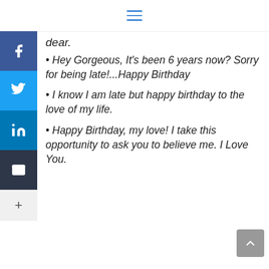≡ (hamburger menu icon)
dear.
• Hey Gorgeous, It's been 6 years now? Sorry for being late!...Happy Birthday
• I know I am late but happy birthday to the love of my life.
• Happy Birthday, my love! I take this opportunity to ask you to believe me. I Love You.